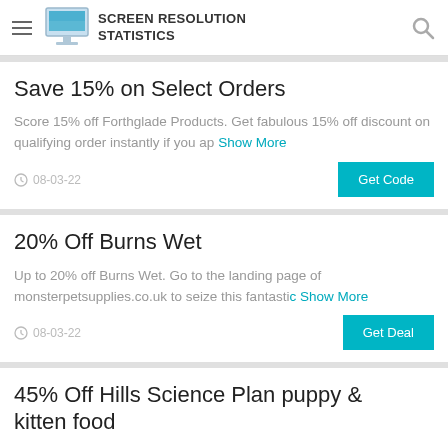SCREEN RESOLUTION STATISTICS
Save 15% on Select Orders
Score 15% off Forthglade Products. Get fabulous 15% off discount on qualifying order instantly if you app Show More
08-03-22   Get Code
20% Off Burns Wet
Up to 20% off Burns Wet. Go to the landing page of monsterpetsupplies.co.uk to seize this fantastic Show More
08-03-22   Get Deal
45% Off Hills Science Plan puppy & kitten food
Up to 45% off Hills Science Plan puppy & kitten food. You don't need a offer code of Monster Pet Supplie... Show More